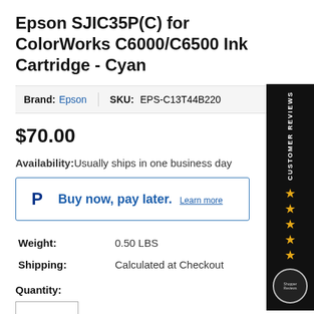Epson SJIC35P(C) for ColorWorks C6000/C6500 Ink Cartridge - Cyan
Brand: Epson   SKU: EPS-C13T44B220
$70.00
Availability: Usually ships in one business day
[Figure (other): PayPal Buy now, pay later banner with Learn more link]
| Weight: | 0.50 LBS |
| Shipping: | Calculated at Checkout |
Quantity:
[Figure (other): Customer Reviews sidebar badge with 5 orange stars on black background]